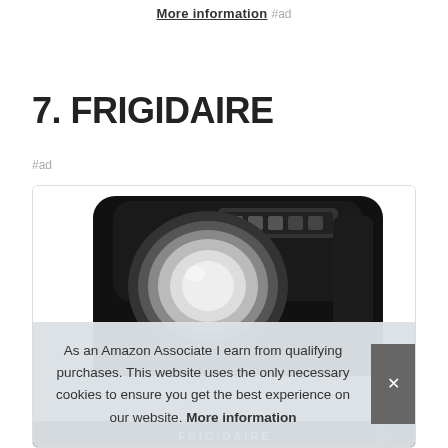More information #ad
7. FRIGIDAIRE
#ad
[Figure (photo): A black Frigidaire countertop ice maker appliance shown from a top-angle perspective, with a circular window and control panel on top.]
As an Amazon Associate I earn from qualifying purchases. This website uses the only necessary cookies to ensure you get the best experience on our website. More information
FRIGIDAIRE